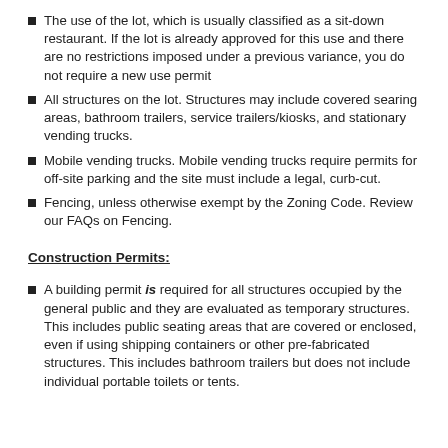The use of the lot, which is usually classified as a sit-down restaurant. If the lot is already approved for this use and there are no restrictions imposed under a previous variance, you do not require a new use permit
All structures on the lot. Structures may include covered searing areas, bathroom trailers, service trailers/kiosks, and stationary vending trucks.
Mobile vending trucks. Mobile vending trucks require permits for off-site parking and the site must include a legal, curb-cut.
Fencing, unless otherwise exempt by the Zoning Code. Review our FAQs on Fencing.
Construction Permits:
A building permit is required for all structures occupied by the general public and they are evaluated as temporary structures. This includes public seating areas that are covered or enclosed, even if using shipping containers or other pre-fabricated structures. This includes bathroom trailers but does not include individual portable toilets or tents.